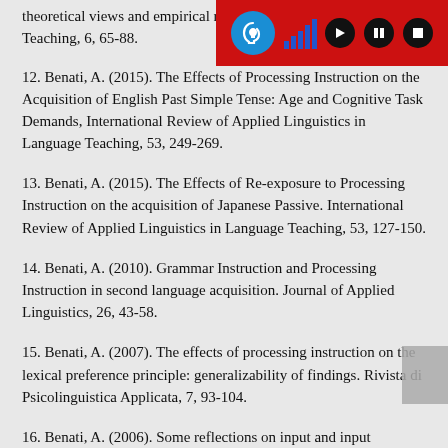theoretical views and empirical research… Language Learning and Teaching, 6, 65-88.
12. Benati, A. (2015). The Effects of Processing Instruction on the Acquisition of English Past Simple Tense: Age and Cognitive Task Demands, International Review of Applied Linguistics in Language Teaching, 53, 249-269.
13. Benati, A. (2015). The Effects of Re-exposure to Processing Instruction on the acquisition of Japanese Passive. International Review of Applied Linguistics in Language Teaching, 53, 127-150.
14. Benati, A. (2010). Grammar Instruction and Processing Instruction in second language acquisition. Journal of Applied Linguistics, 26, 43-58.
15. Benati, A. (2007). The effects of processing instruction on the lexical preference principle: generalizability of findings. Rivista di Psicolinguistica Applicata, 7, 93-104.
16. Benati, A. (2006). Some reflections on input and input processing. Scuola e Lingue Moderne, 4-5, 56-60.
[Figure (screenshot): Red accessibility toolbar overlay in top-right corner with hearing icon, signal bars, play, pause, and stop buttons.]